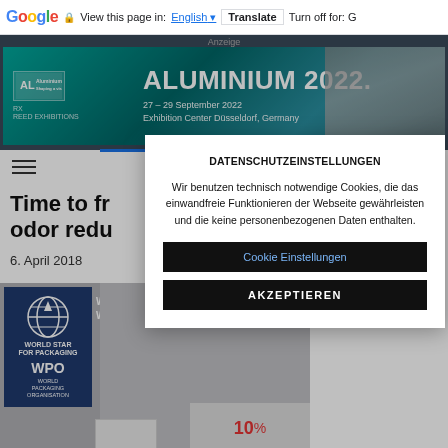Google  View this page in: English  Translate  Turn off for: G
[Figure (infographic): ALUMINIUM 2022 advertisement banner. Green/teal gradient background with aluminum cans photo on right. Shows: ALUMINIUM 2022. 27-29 September 2022, Exhibition Center Düsseldorf, Germany]
[Figure (illustration): Hamburger menu icon (three horizontal lines)]
Time to fr odor redu
6. April 2018
[Figure (photo): WPO World Packaging Organisation Winner badge (dark blue) alongside article image]
DATENSCHUTZEINSTELLUNGEN
Wir benutzen technisch notwendige Cookies, die das einwandfreie Funktionieren der Webseite gewährleisten und die keine personenbezogenen Daten enthalten.
Cookie Einstellungen
AKZEPTIEREN